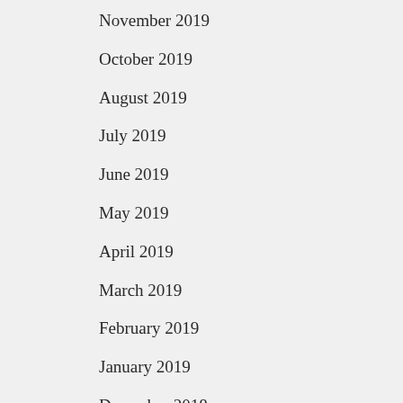November 2019
October 2019
August 2019
July 2019
June 2019
May 2019
April 2019
March 2019
February 2019
January 2019
December 2018
July 2018